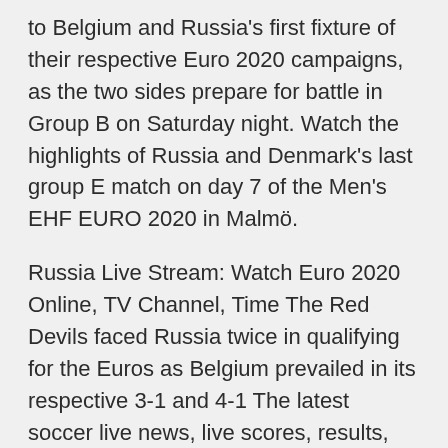to Belgium and Russia's first fixture of their respective Euro 2020 campaigns, as the two sides prepare for battle in Group B on Saturday night. Watch the highlights of Russia and Denmark's last group E match on day 7 of the Men's EHF EURO 2020 in Malmö.
Russia Live Stream: Watch Euro 2020 Online, TV Channel, Time The Red Devils faced Russia twice in qualifying for the Euros as Belgium prevailed in its respective 3-1 and 4-1 The latest soccer live news, live scores, results, transfers, fixture schedules, table standings and player profiles from around the world Jun 11, 2021 · UEFA Euro 2020: Live stream, how to watch on TV, betting odds, game times. - Italy vs. Turkey kicks off the postponed Euro 2020 in Rome on Friday. - Defending champion Portugal in group with Jun 02, 2021 · Stream Multi View - Russia vs. Denmark (Group